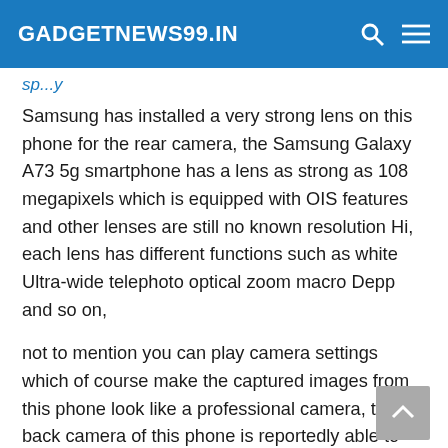GADGETNEWS99.IN
Samsung has installed a very strong lens on this phone for the rear camera, the Samsung Galaxy A73 5g smartphone has a lens as strong as 108 megapixels which is equipped with OIS features and other lenses are still no known resolution Hi, each lens has different functions such as white Ultra-wide telephoto optical zoom macro Depp and so on,
not to mention you can play camera settings which of course make the captured images from this phone look like a professional camera, the back camera of this phone is reportedly able to take pictures. video with quality up to forkey on the other hand, the front camera of this latest Samsung phone also has extraordinary power.